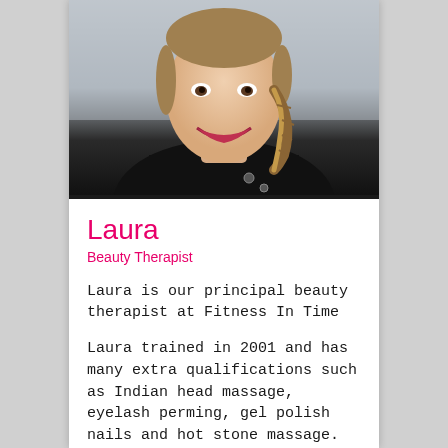[Figure (photo): Professional portrait photo of Laura, a woman smiling, wearing a dark/black uniform top with braided hair, photographed from shoulders up against a light grey background.]
Laura
Beauty Therapist
Laura is our principal beauty therapist at Fitness In Time
Laura trained in 2001 and has many extra qualifications such as Indian head massage, eyelash perming, gel polish nails and hot stone massage. She has worked extensively around the south of